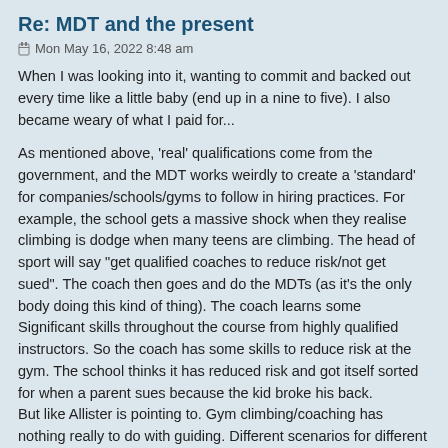Re: MDT and the present
Mon May 16, 2022 8:48 am
When I was looking into it, wanting to commit and backed out every time like a little baby (end up in a nine to five). I also became weary of what I paid for...
As mentioned above, 'real' qualifications come from the government, and the MDT works weirdly to create a 'standard' for companies/schools/gyms to follow in hiring practices. For example, the school gets a massive shock when they realise climbing is dodge when many teens are climbing. The head of sport will say "get qualified coaches to reduce risk/not get sued". The coach then goes and do the MDTs (as it's the only body doing this kind of thing). The coach learns some Significant skills throughout the course from highly qualified instructors. So the coach has some skills to reduce risk at the gym. The school thinks it has reduced risk and got itself sorted for when a parent sues because the kid broke his back.
But like Allister is pointing to. Gym climbing/coaching has nothing really to do with guiding. Different scenarios for different practices (there are obvious overlaps).
So when something happens, the school /gym /company manager will be shocked to hear that mdt doesn't have intrinsic worth.
What it provides is the beginning of the recorded history of the individual